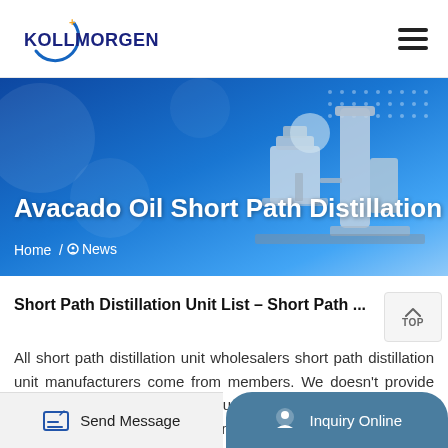KOLLMORGEN
[Figure (screenshot): Banner image with blue gradient background showing industrial distillation equipment/machines on the right side, with decorative dot pattern in top right corner]
Avacado Oil Short Path Distillation
Home / News
Short Path Distillation Unit List - Short Path ...
All short path distillation unit wholesalers short path distillation unit manufacturers come from members. We doesn't provide short path distillation unit products or service, please contact them directly and verify their companies info carefully.
Send Message | Inquiry Online